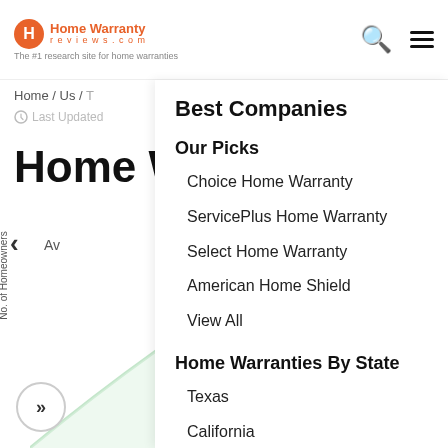[Figure (logo): Home Warranty Reviews.com logo with orange H circle icon and tagline 'The #1 research site for home warranties']
Home / Us /
Last Updated
Home Wa
No. of Homeowners
Best Companies
Our Picks
Choice Home Warranty
ServicePlus Home Warranty
Select Home Warranty
American Home Shield
View All
Home Warranties By State
Texas
California
Florida
Arizona